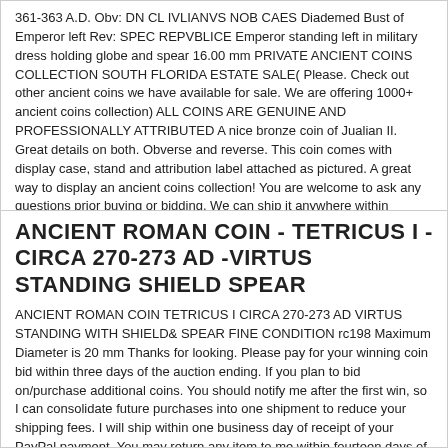361-363 A.D. Obv: DN CL IVLIANVS NOB CAES Diademed Bust of Emperor left Rev: SPEC REPVBLICE Emperor standing left in military dress holding globe and spear 16.00 mm PRIVATE ANCIENT COINS COLLECTION SOUTH FLORIDA ESTATE SALE( Please. Check out other ancient coins we have available for sale. We are offering 1000+ ancient coins collection) ALL COINS ARE GENUINE AND PROFESSIONALLY ATTRIBUTED A nice bronze coin of Jualian II. Great details on both. Obverse and reverse. This coin comes with display case, stand and attribution label attached as pictured. A great way to display an ancient coins collection! You are welcome to ask any questions prior buying or bidding. We can ship it anywhere within continental U.S. for a flat ... more
ANCIENT ROMAN COIN - TETRICUS I - CIRCA 270-273 AD -VIRTUS STANDING SHIELD SPEAR
ANCIENT ROMAN COIN TETRICUS I CIRCA 270-273 AD VIRTUS STANDING WITH SHIELD& SPEAR FINE CONDITION rc198 Maximum Diameter is 20 mm Thanks for looking. Please pay for your winning coin bid within three days of the auction ending. If you plan to bid on/purchase additional coins. You should notify me after the first win, so I can consolidate future purchases into one shipment to reduce your shipping fees. I will ship within one business day of receipt of your PayPal payment. You may return any item to me within fourteen days of receipt provided that you email me within three days of receipt indicating that you will be returning it to me. As long as I receive it in the same condition as it was shipped. And within the fourteen day return period, I will immediately refund the original winning bid price through PayPal. Thank you for your interest ... more